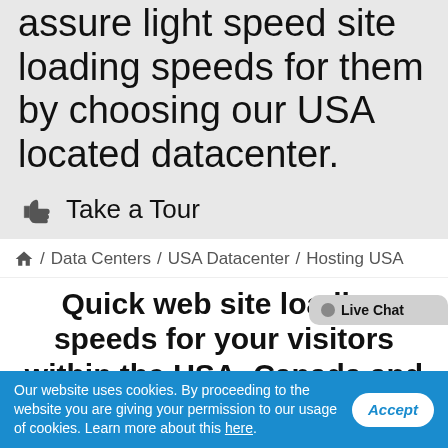assure light speed site loading speeds for them by choosing our USA located datacenter.
👍 Take a Tour
🏠 / Data Centers / USA Datacenter / Hosting USA
Quick web site loading speeds for your visitors within the USA, Canada and Latin America
We understand that the web site loading speed is of essential importance for your online success and therefore we provide our the entire best...
Our website uses cookies. By proceeding to the website you are giving your permission to our usage of cookies. Learn more about this here.